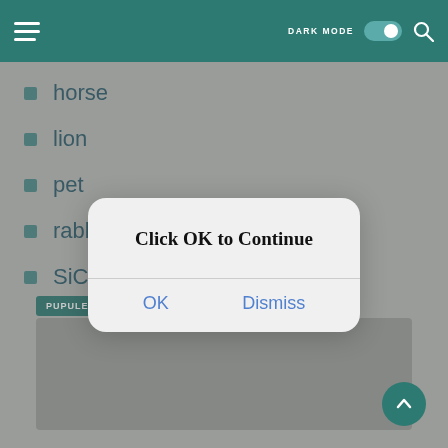[Figure (screenshot): Mobile app navigation bar with hamburger menu icon on left, DARK MODE toggle (on) in center-right, and search icon on far right, on teal background]
horse
lion
pet
rabbit
SiCep
PUPULER POST
[Figure (screenshot): A modal dialog box with title 'Click OK to Continue' and two buttons: OK and Dismiss]
Click OK to Continue
OK
Dismiss